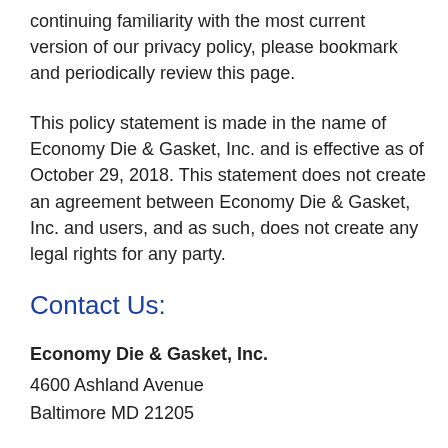continuing familiarity with the most current version of our privacy policy, please bookmark and periodically review this page.
This policy statement is made in the name of Economy Die & Gasket, Inc. and is effective as of October 29, 2018. This statement does not create an agreement between Economy Die & Gasket, Inc. and users, and as such, does not create any legal rights for any party.
Contact Us:
Economy Die & Gasket, Inc.
4600 Ashland Avenue
Baltimore MD 21205